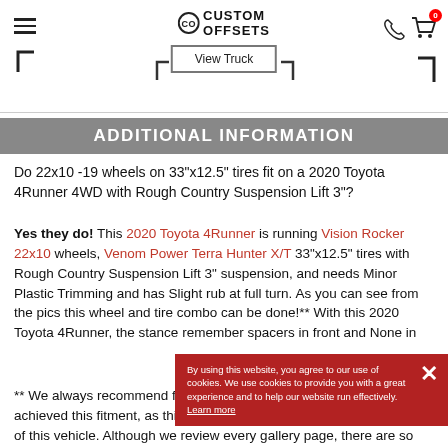CUSTOM OFFSETS — navigation header with View Truck button
ADDITIONAL INFORMATION
Do 22x10 -19 wheels on 33"x12.5" tires fit on a 2020 Toyota 4Runner 4WD with Rough Country Suspension Lift 3"?
Yes they do! This 2020 Toyota 4Runner is running Vision Rocker 22x10 wheels, Venom Power Terra Hunter X/T 33"x12.5" tires with Rough Country Suspension Lift 3" suspension, and needs Minor Plastic Trimming and has Slight rub at full turn. As you can see from the pics this wheel and tire combo can be done!** With this 2020 Toyota 4Runner, the stance... remember spacers ... in front and None in...
By using this website, you agree to our use of cookies. We use cookies to provide you with a great experience and to help our website run effectively. Learn more
** We always recommend finding a couple vehicles that have achieved this fitment, as this information is solely based on the owner of this vehicle. Although we review every gallery page, there are so many variables we cannot